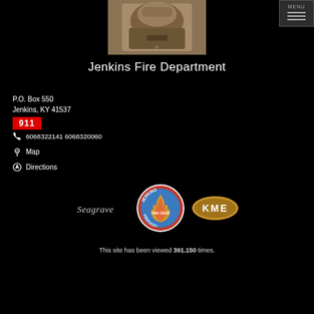[Figure (photo): Photo of firefighter gear/helmet on white background, centered at top of page]
Jenkins Fire Department
P.O. Box 550
Jenkins, KY 41537
911
6068322141 6068320060
Map
Directions
[Figure (logo): Seagraves logo (script text), Jenkins Fire Crew circular patch (firefighter emblem with flames), KME oval logo]
This site has been viewed 391,150 times.